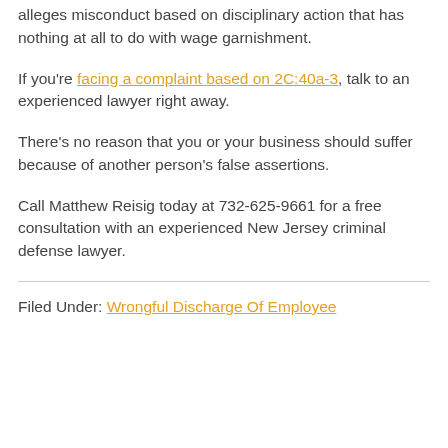alleges misconduct based on disciplinary action that has nothing at all to do with wage garnishment.
If you're facing a complaint based on 2C:40a-3, talk to an experienced lawyer right away.
There's no reason that you or your business should suffer because of another person's false assertions.
Call Matthew Reisig today at 732-625-9661 for a free consultation with an experienced New Jersey criminal defense lawyer.
Filed Under: Wrongful Discharge Of Employee